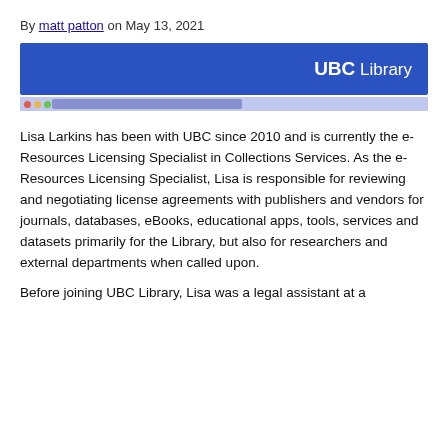By matt patton on May 13, 2021
[Figure (screenshot): UBC Library website banner screenshot showing blue header with 'UBC Library' logo on right and browser bar with colored dots on left]
Lisa Larkins has been with UBC since 2010 and is currently the e-Resources Licensing Specialist in Collections Services. As the e-Resources Licensing Specialist, Lisa is responsible for reviewing and negotiating license agreements with publishers and vendors for journals, databases, eBooks, educational apps, tools, services and datasets primarily for the Library, but also for researchers and external departments when called upon.
Before joining UBC Library, Lisa was a legal assistant at a